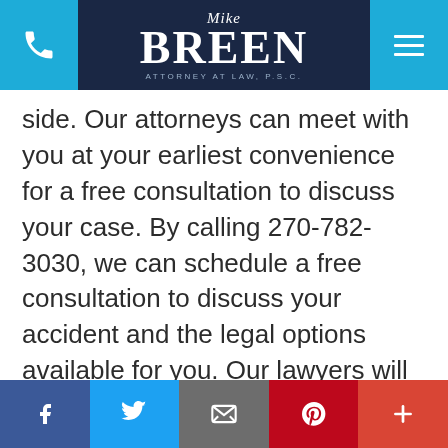[Figure (logo): Mike Breen Attorney at Law P.S.C. logo with phone icon and hamburger menu on dark navy header]
side. Our attorneys can meet with you at your earliest convenience for a free consultation to discuss your case. By calling 270-782-3030, we can schedule a free consultation to discuss your accident and the legal options available for you. Our lawyers will get to work immediately on building the strongest claim possible on your behalf to ensure you are able to get justice. Contact our law firm today to get started.
[Figure (infographic): Footer social media bar with Facebook, Twitter, Email, Pinterest, and plus buttons]